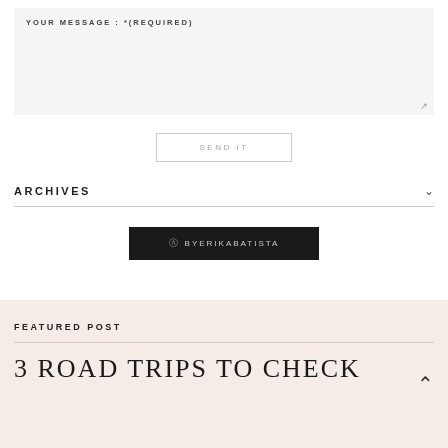YOUR MESSAGE : *(REQUIRED)
SEND IT
ARCHIVES
@BYERIKABATISTA
FEATURED POST
3 ROAD TRIPS TO CHECK